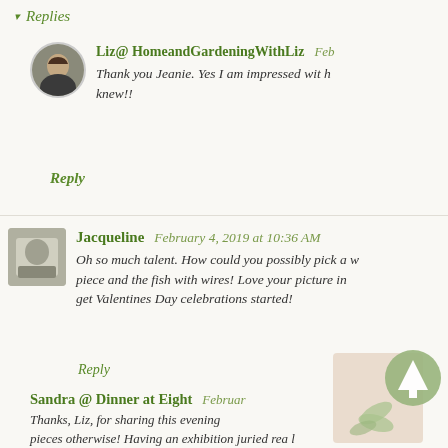▾ Replies
Liz@ HomeandGardeningWithLiz  Feb
Thank you Jeanie. Yes I am impressed wit h knew!!
Reply
Jacqueline  February 4, 2019 at 10:36 AM
Oh so much talent. How could you possibly pick a w piece and the fish with wires! Love your picture in get Valentines Day celebrations started!
Reply
Sandra @ Dinner at Eight  February 1:
Thanks, Liz, for sharing this evening o pieces otherwise! Having an exhibition juried rea l